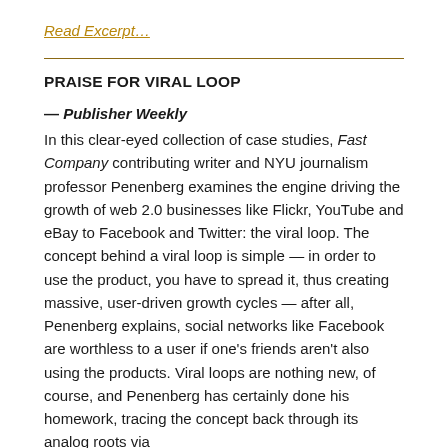Read Excerpt…
PRAISE FOR VIRAL LOOP
— Publisher Weekly
In this clear-eyed collection of case studies, Fast Company contributing writer and NYU journalism professor Penenberg examines the engine driving the growth of web 2.0 businesses like Flickr, YouTube and eBay to Facebook and Twitter: the viral loop. The concept behind a viral loop is simple — in order to use the product, you have to spread it, thus creating massive, user-driven growth cycles — after all, Penenberg explains, social networks like Facebook are worthless to a user if one's friends aren't also using the products. Viral loops are nothing new, of course, and Penenberg has certainly done his homework, tracing the concept back through its analog roots via